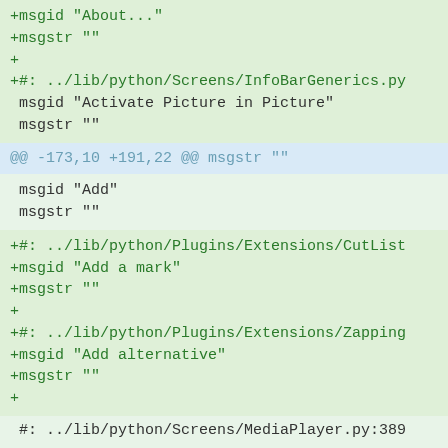+msgid "About..."
+msgstr ""
+
+#: ../lib/python/Screens/InfoBarGenerics.py
 msgid "Activate Picture in Picture"
 msgstr ""
@@ -173,10 +191,22 @@ msgstr ""
msgid "Add"
 msgstr ""
+#: ../lib/python/Plugins/Extensions/CutList
+msgid "Add a mark"
+msgstr ""
+
+#: ../lib/python/Plugins/Extensions/Zapping
+msgid "Add alternative"
+msgstr ""
+
#: ../lib/python/Screens/MediaPlayer.py:389